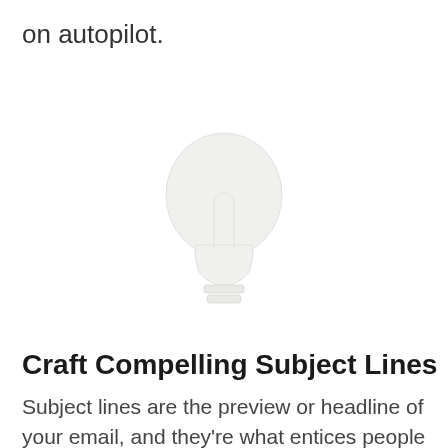on autopilot.
[Figure (illustration): Faint watermark-style illustration of a light bulb or similar icon in light gray tones centered on the page]
Craft Compelling Subject Lines
Subject lines are the preview or headline of your email, and they're what entices people to open up your message.
They capture the attention of your